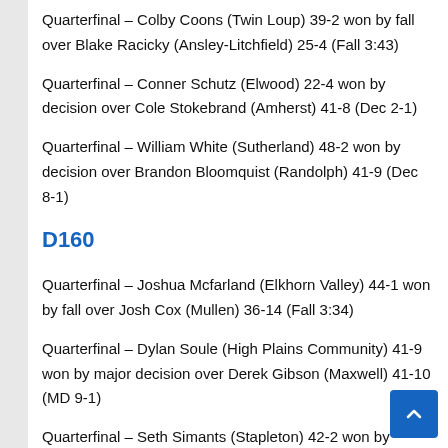Quarterfinal – Colby Coons (Twin Loup) 39-2 won by fall over Blake Racicky (Ansley-Litchfield) 25-4 (Fall 3:43)
Quarterfinal – Conner Schutz (Elwood) 22-4 won by decision over Cole Stokebrand (Amherst) 41-8 (Dec 2-1)
Quarterfinal – William White (Sutherland) 48-2 won by decision over Brandon Bloomquist (Randolph) 41-9 (Dec 8-1)
D160
Quarterfinal – Joshua Mcfarland (Elkhorn Valley) 44-1 won by fall over Josh Cox (Mullen) 36-14 (Fall 3:34)
Quarterfinal – Dylan Soule (High Plains Community) 41-9 won by major decision over Derek Gibson (Maxwell) 41-10 (MD 9-1)
Quarterfinal – Seth Simants (Stapleton) 42-2 won by